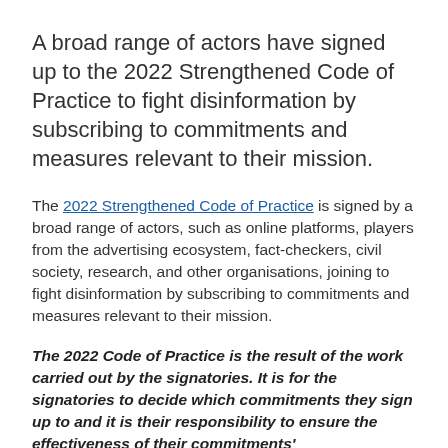A broad range of actors have signed up to the 2022 Strengthened Code of Practice to fight disinformation by subscribing to commitments and measures relevant to their mission.
The 2022 Strengthened Code of Practice is signed by a broad range of actors, such as online platforms, players from the advertising ecosystem, fact-checkers, civil society, research, and other organisations, joining to fight disinformation by subscribing to commitments and measures relevant to their mission.
The 2022 Code of Practice is the result of the work carried out by the signatories. It is for the signatories to decide which commitments they sign up to and it is their responsibility to ensure the effectiveness of their commitments' implementation. The Code is not endorsed by the Commission, while the Commission